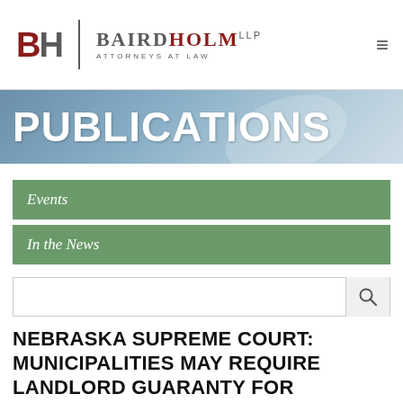BH | BairdHolmLLP ATTORNEYS AT LAW
PUBLICATIONS
Events
In the News
NEBRASKA SUPREME COURT: MUNICIPALITIES MAY REQUIRE LANDLORD GUARANTY FOR UTILITY SERVICES